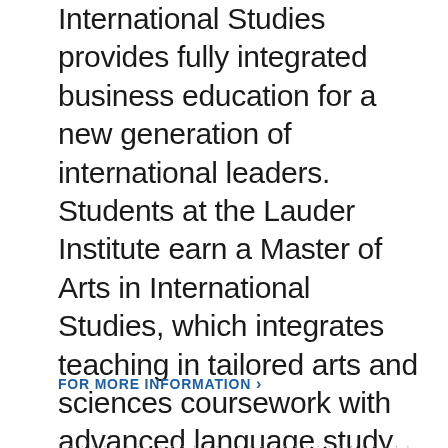International Studies provides fully integrated business education for a new generation of international leaders. Students at the Lauder Institute earn a Master of Arts in International Studies, which integrates teaching in tailored arts and sciences coursework with advanced language study and cultural immersion experiences. This training is combined with either a a MBA at the Wharton School or a JD at the Penn law School. The Lauder Institute has 6 regions of focus as well as a global program. Students in the Lauder Institute receive rigorous language training in a language local to their region of focus.
FOR MORE INFORMATION ❯